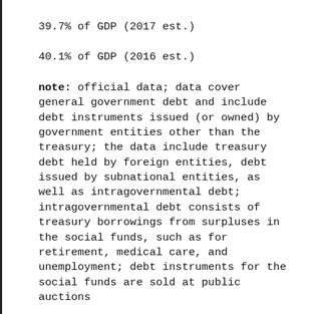39.7% of GDP (2017 est.)
40.1% of GDP (2016 est.)
note: official data; data cover general government debt and include debt instruments issued (or owned) by government entities other than the treasury; the data include treasury debt held by foreign entities, debt issued by subnational entities, as well as intragovernmental debt; intragovernmental debt consists of treasury borrowings from surpluses in the social funds, such as for retirement, medical care, and unemployment; debt instruments for the social funds are sold at public auctions